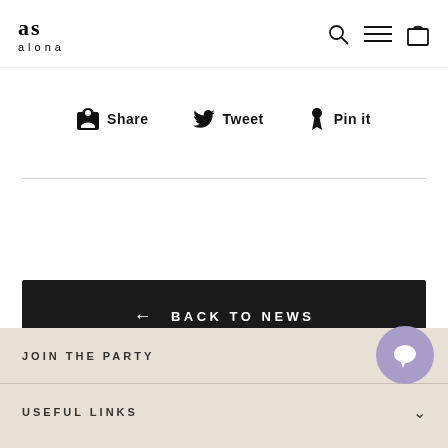as alona — navigation header with search, menu, and bag icons
Share  Tweet  Pin it
← BACK TO NEWS
JOIN THE PARTY
USEFUL LINKS